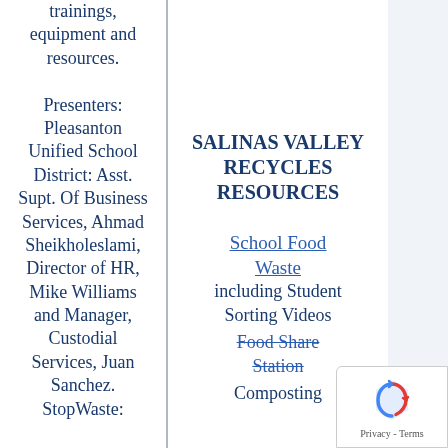trainings, equipment and resources. Presenters: Pleasanton Unified School District: Asst. Supt. Of Business Services, Ahmad Sheikholeslami, Director of HR, Mike Williams and Manager, Custodial Services, Juan Sanchez. StopWaste:
SALINAS VALLEY RECYCLES RESOURCES
School Food Waste including Student Sorting Videos
Food Share Station
Composting